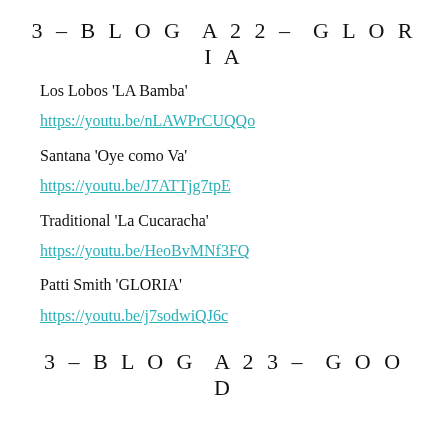3 – BLOG A22 – GLORIA
Los Lobos ‘LA Bamba’
https://youtu.be/nLAWPrCUQQo
Santana ‘Oye como Va’
https://youtu.be/J7ATTjg7tpE
Traditional ‘La Cucaracha’
https://youtu.be/HeoBvMNf3FQ
Patti Smith ‘GLORIA’
https://youtu.be/j7sodwiQJ6c
3 – BLOG A23 – GOOD